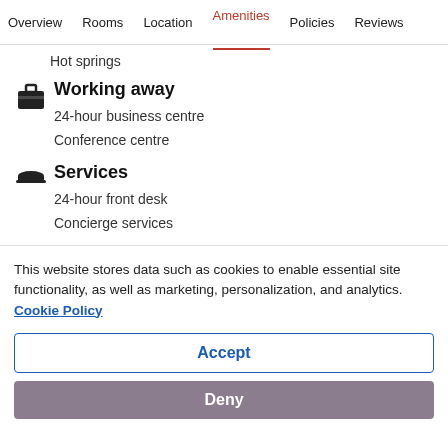Overview  Rooms  Location  Amenities  Policies  Reviews
Hot springs
Working away
24-hour business centre
Conference centre
Services
24-hour front desk
Concierge services
This website stores data such as cookies to enable essential site functionality, as well as marketing, personalization, and analytics. Cookie Policy
Accept
Deny